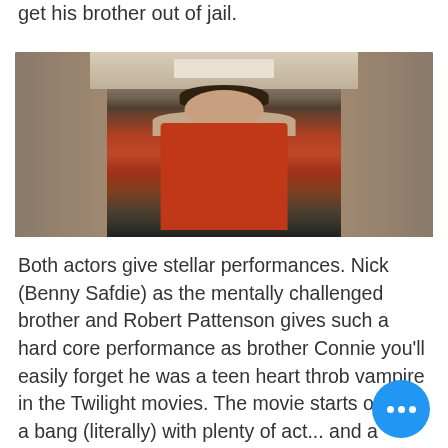get his brother out of jail.
[Figure (photo): A man in a red jacket standing in a hallway, looking directly at the camera. The hallway has fluorescent lighting above.]
Both actors give stellar performances. Nick (Benny Safdie) as the mentally challenged brother and Robert Pattenson gives such a hard core performance as brother Connie you'll easily forget he was a teen heart throb vampire in the Twilight movies. The movie starts off with a bang (literally) with plenty of act... and a musical soundtrack that keeps